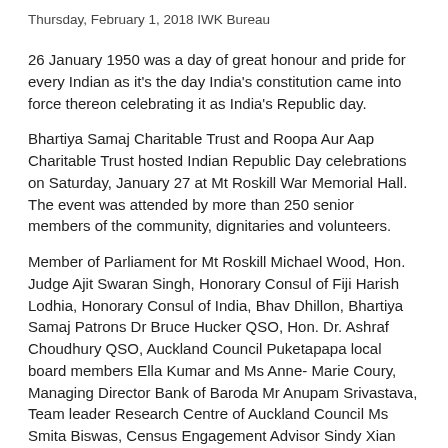Thursday, February 1, 2018 IWK Bureau
26 January 1950 was a day of great honour and pride for every Indian as it's the day India's constitution came into force thereon celebrating it as India's Republic day.
Bhartiya Samaj Charitable Trust and Roopa Aur Aap Charitable Trust hosted Indian Republic Day celebrations on Saturday, January 27 at Mt Roskill War Memorial Hall. The event was attended by more than 250 senior members of the community, dignitaries and volunteers.
Member of Parliament for Mt Roskill Michael Wood, Hon. Judge Ajit Swaran Singh, Honorary Consul of Fiji Harish Lodhia, Honorary Consul of India, Bhav Dhillon, Bhartiya Samaj Patrons Dr Bruce Hucker QSO, Hon. Dr. Ashraf Choudhury QSO, Auckland Council Puketapapa local board members Ella Kumar and Ms Anne- Marie Coury, Managing Director Bank of Baroda Mr Anupam Srivastava, Team leader Research Centre of Auckland Council Ms Smita Biswas, Census Engagement Advisor Sindy Xian and executive committee